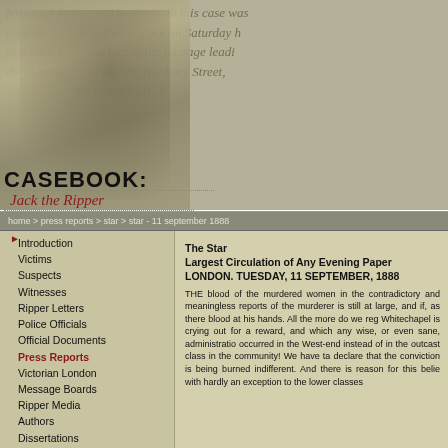[Figure (photo): Background header area with newspaper text overlay and a Victorian-era portrait photograph of a woman]
CASEBOOK: Jack the Ripper
home > press reports > star > star - 11 september 1888
Introduction
Victims
Suspects
Witnesses
Ripper Letters
Police Officials
Official Documents
Press Reports
Victorian London
Message Boards
Ripper Media
Authors
Dissertations
Timelines
Games & Diversions
Photo Archive
Ripper Wiki
Casebook Examiner
Ripper Podcast
About the Casebook
The Star
Largest Circulation of Any Evening Paper
LONDON. TUESDAY, 11 SEPTEMBER, 1888
THE blood of the murdered women in the contradictory and meaningless reports of the murderer is still at large, and if, as there blood at his hands. All the more do we reg Whitechapel is crying out for a reward, and which any wise, or even sane, administratio occurred in the West-end instead of in the outcast class in the community! We have ta declare that the conviction is being burned indifferent. And there is reason for this belie with hardly an exception to the lower classes